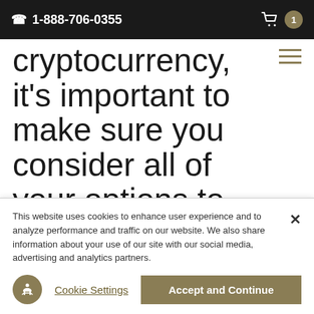1-888-706-0355
cryptocurrency, it's important to make sure you consider all of your options to help offset your portfolio against potential risks.
Gold and other precious metals can serve as an
This website uses cookies to enhance user experience and to analyze performance and traffic on our website. We also share information about your use of our site with our social media, advertising and analytics partners.
Cookie Settings
Accept and Continue